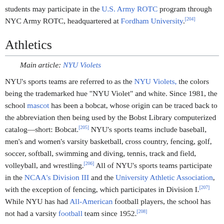students may participate in the U.S. Army ROTC program through NYC Army ROTC, headquartered at Fordham University.[204]
Athletics
Main article: NYU Violets
NYU's sports teams are referred to as the NYU Violets, the colors being the trademarked hue "NYU Violet" and white. Since 1981, the school mascot has been a bobcat, whose origin can be traced back to the abbreviation then being used by the Bobst Library computerized catalog—short: Bobcat.[205] NYU's sports teams include baseball, men's and women's varsity basketball, cross country, fencing, golf, soccer, softball, swimming and diving, tennis, track and field, volleyball, and wrestling.[206] All of NYU's sports teams participate in the NCAA's Division III and the University Athletic Association, with the exception of fencing, which participates in Division I.[207] While NYU has had All-American football players, the school has not had a varsity football team since 1952.[208]
NYU students also compete in club and intramural sports, including